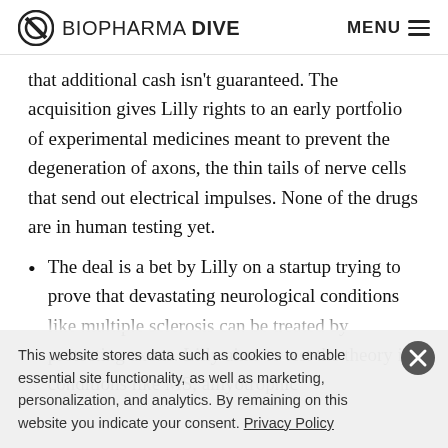BIOPHARMA DIVE | MENU
that additional cash isn’t guaranteed. The acquisition gives Lilly rights to an early portfolio of experimental medicines meant to prevent the degeneration of axons, the thin tails of nerve cells that send out electrical impulses. None of the drugs are in human testing yet.
The deal is a bet by Lilly on a startup trying to prove that devastating neurological conditions like multiple sclerosis can be treated by protecting axons. Lilly aims to test the theory in conditions like MS, amyotrophic
This website stores data such as cookies to enable essential site functionality, as well as marketing, personalization, and analytics. By remaining on this website you indicate your consent. Privacy Policy